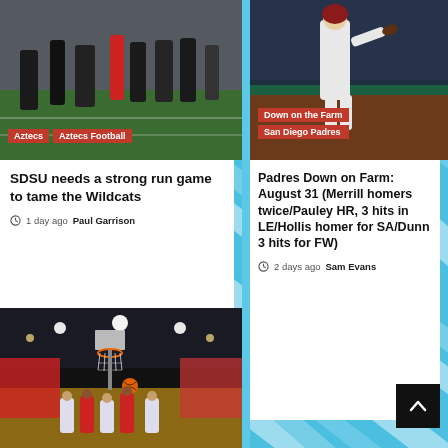[Figure (photo): Football game scene with cheerleader and players on field]
Aztecs | Aztecs Football
SDSU needs a strong run game to tame the Wildcats
1 day ago  Paul Garrison
[Figure (photo): Baseball player pitching in uniform]
Down on the Farm | San Diego Padres
Padres Down on Farm: August 31 (Merrill homers twice/Pauley HR, 3 hits in LE/Hollis homer for SA/Dunn 3 hits for FW)
2 days ago  Sam Evans
[Figure (photo): Basketball arena interior with hoop and crowd]